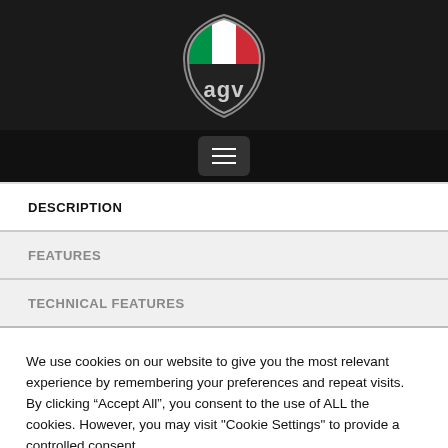[Figure (logo): AGV motorcycle helmet brand logo — shield shape with Italian flag colors (green, white, red) and 'agv' text in silver/white lettering on black background]
DESCRIPTION
FEATURES
TECHNICAL FEATURES
We use cookies on our website to give you the most relevant experience by remembering your preferences and repeat visits. By clicking “Accept All”, you consent to the use of ALL the cookies. However, you may visit "Cookie Settings" to provide a controlled consent.
Cookie Settings
Accept All